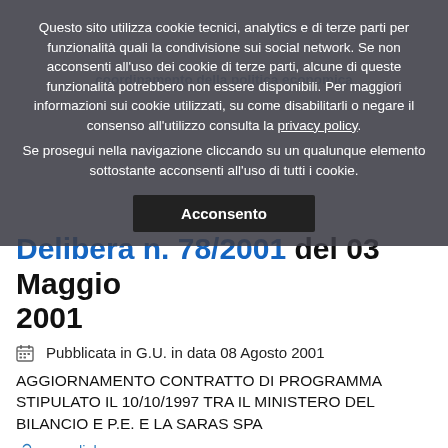Questo sito utilizza cookie tecnici, analytics e di terze parti per funzionalità quali la condivisione sui social network. Se non acconsenti all'uso dei cookie di terze parti, alcune di queste funzionalità potrebbero non essere disponibili. Per maggiori informazioni sui cookie utilizzati, su come disabilitarli o negare il consenso all'utilizzo consulta la privacy policy. Se prosegui nella navigazione cliccando su un qualunque elemento sottostante acconsenti all'uso di tutti i cookie.
Acconsento
Delibera n. 78/2001 del 03 Maggio 2001
Pubblicata in G.U. in data 08 Agosto 2001
AGGIORNAMENTO CONTRATTO DI PROGRAMMA STIPULATO IL 10/10/1997 TRA IL MINISTERO DEL BILANCIO E P.E. E LA SARAS SPA
permalink.
Delibera n. 77/2001 del 04 Maggio 2001
Pubblicata in G.U. in data 07 Agosto 2001